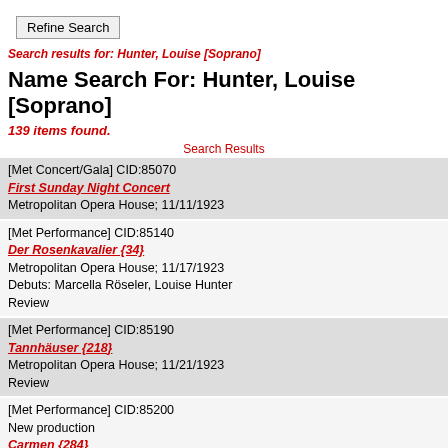Refine Search
Search results for: Hunter, Louise [Soprano]
Name Search For: Hunter, Louise [Soprano]
139 items found.
Search Results
[Met Concert/Gala] CID:85070 First Sunday Night Concert Metropolitan Opera House; 11/11/1923
[Met Performance] CID:85140 Der Rosenkavalier {34} Metropolitan Opera House; 11/17/1923 Debuts: Marcella Röseler, Louise Hunter Review
[Met Performance] CID:85190 Tannhäuser {218} Metropolitan Opera House; 11/21/1923 Review
[Met Performance] CID:85200 New production Carmen {284} Metropolitan Opera House; 11/22/1923 Debut: Ruth Viemeister
[Met Concert/Gala] CID:85250 Third Sunday Night Concert